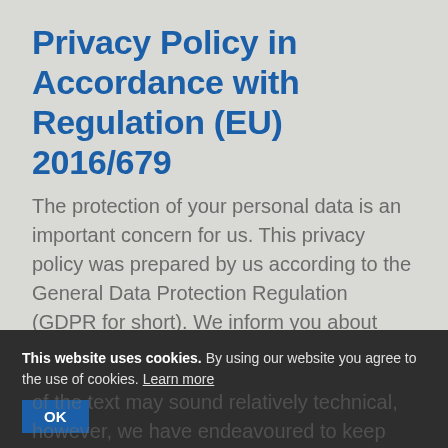Privacy Policy in Accordance with Regulation (EU) 2016/679
The protection of your personal data is an important concern for us. This privacy policy was prepared by us according to the General Data Protection Regulation (GDPR for short). We inform you about which data we collect, how we use it, and what rights you have as a visitor to this website.
This website uses cookies. By using our website you agree to the use of cookies. Learn more
OK
of the text may sound relatively technical, however, we have endeavoured to keep the essentials as understandable as possible for you.